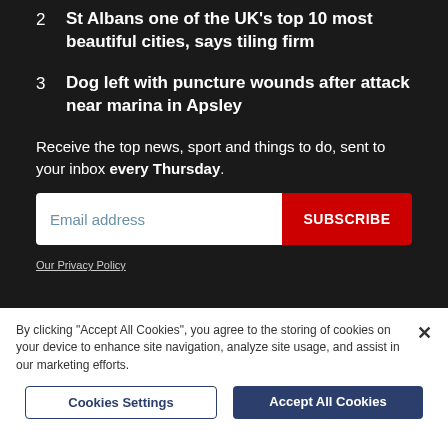2 St Albans one of the UK's top 10 most beautiful cities, says tiling firm
3 Dog left with puncture wounds after attack near marina in Apsley
Receive the top news, sport and things to do, sent to your inbox every Thursday.
Email address
SUBSCRIBE
Our Privacy Policy
By clicking "Accept All Cookies", you agree to the storing of cookies on your device to enhance site navigation, analyze site usage, and assist in our marketing efforts.
Cookies Settings
Accept All Cookies